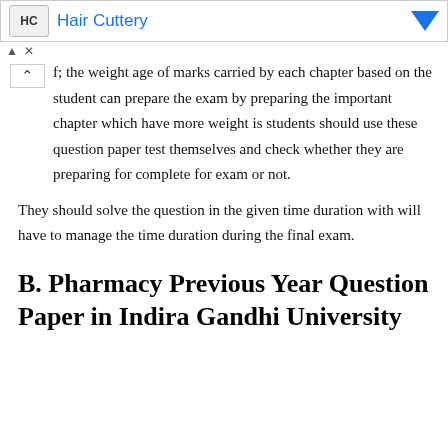[Figure (other): Advertisement banner for Hair Cuttery with logo, title in blue, blue downward arrow icon, and ad controls (chevron up and X)]
the weight age of marks carried by each chapter based on the student can prepare the exam by preparing the important chapter which have more weight is students should use these question paper test themselves and check whether they are preparing for complete for exam or not.
They should solve the question in the given time duration with will have to manage the time duration during the final exam.
B. Pharmacy Previous Year Question Paper in Indira Gandhi University